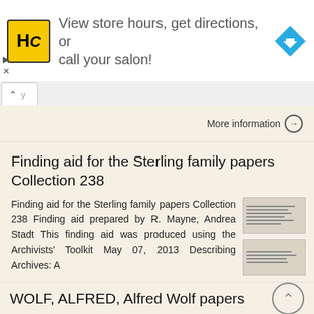[Figure (screenshot): Advertisement banner with HC logo (black H and C on yellow square background), text 'View store hours, get directions, or call your salon!' and a blue diamond navigation arrow icon. Small play and close controls at left.]
More information →
Finding aid for the Sterling family papers Collection 238
Finding aid for the Sterling family papers Collection 238 Finding aid prepared by R. Mayne, Andrea Stadt This finding aid was produced using the Archivists' Toolkit May 07, 2013 Describing Archives: A
More information →
WOLF, ALFRED, Alfred Wolf papers